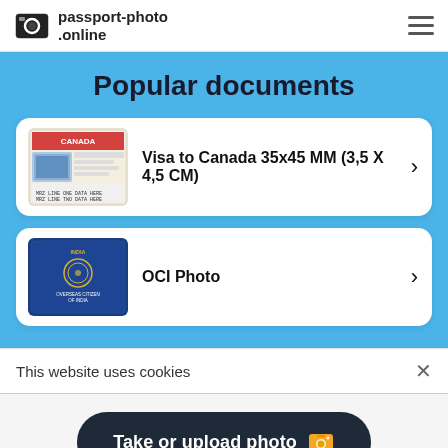passport-photo.online
Popular documents
Visa to Canada 35x45 MM (3,5 X 4,5 CM)
OCI Photo
This website uses cookies
Take or upload photo